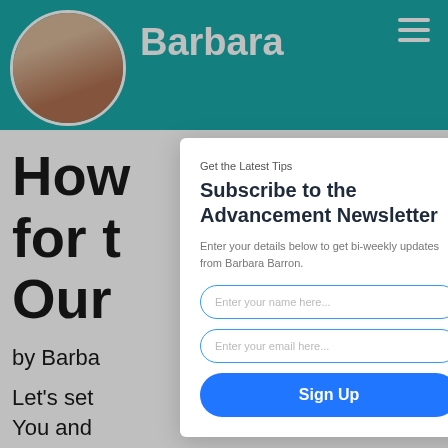Barbara
How for t Our
by Barba
Let's set
You and
[Figure (screenshot): Newsletter subscription modal popup overlay on a website. Modal contains: 'Get the Latest Tips' subtitle, 'Subscribe to the Advancement Newsletter' heading, description text 'Enter your details below to get bi-weekly updates from Barbara Barron.', two input fields ('Enter your name here...' and 'Enter your email here...'), and a 'Sign Up' button. Background shows teal header with 'Barbara' name and circular avatar photo, hamburger menu icon, and partially visible article title 'How... for t... Our...' with author byline 'by Barba...' and text 'Let's set...' and 'You and'.]